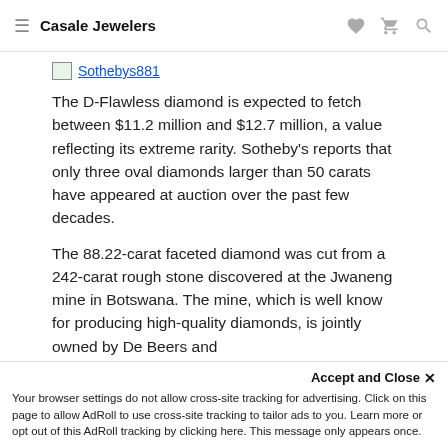Casale Jewelers
[Figure (other): Broken image placeholder labeled Sothebys881]
The D-Flawless diamond is expected to fetch between $11.2 million and $12.7 million, a value reflecting its extreme rarity. Sotheby's reports that only three oval diamonds larger than 50 carats have appeared at auction over the past few decades.
The 88.22-carat faceted diamond was cut from a 242-carat rough stone discovered at the Jwaneng mine in Botswana. The mine, which is well know for producing high-quality diamonds, is jointly owned by De Beers and the government of Botswana.
Accept and Close × Your browser settings do not allow cross-site tracking for advertising. Click on this page to allow AdRoll to use cross-site tracking to tailor ads to you. Learn more or opt out of this AdRoll tracking by clicking here. This message only appears once.